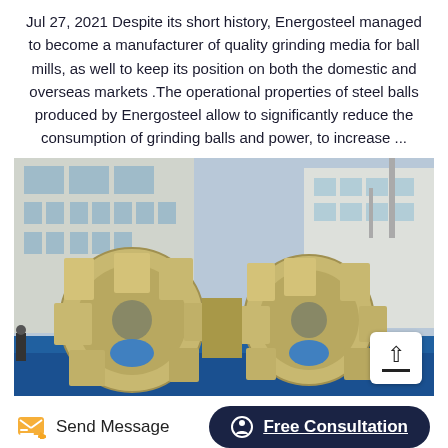Jul 27, 2021 Despite its short history, Energosteel managed to become a manufacturer of quality grinding media for ball mills, as well to keep its position on both the domestic and overseas markets .The operational properties of steel balls produced by Energosteel allow to significantly reduce the consumption of grinding balls and power, to increase ...
[Figure (photo): Industrial machinery photo showing large yellow/beige bucket elevator or screening equipment with wheel-shaped components and blue base, set against a building background.]
Send Message
Free Consultation